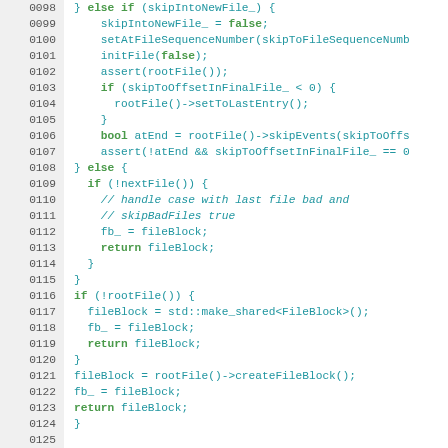[Figure (screenshot): Source code listing in C++ showing lines 0098 to 0127, with line numbers on the left in gray, code in monospace font with green keywords and blue identifiers on white background.]